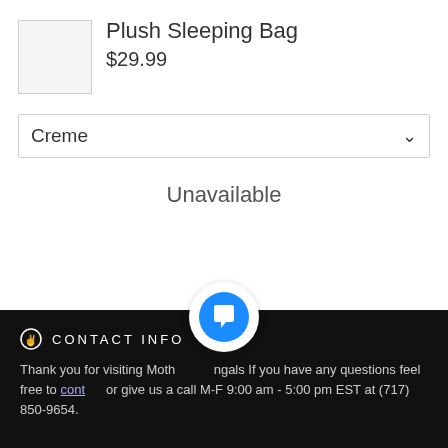[Figure (photo): Product image placeholder thumbnail (light gray box)]
Plush Sleeping Bag
$29.99
Creme ∨
Unavailable
CONTACT INFO
Thank you for visiting MotherBengals If you have any questions feel free to contact or give us a call M-F 9:00 am - 5:00 pm EST at (717) 850-9654.